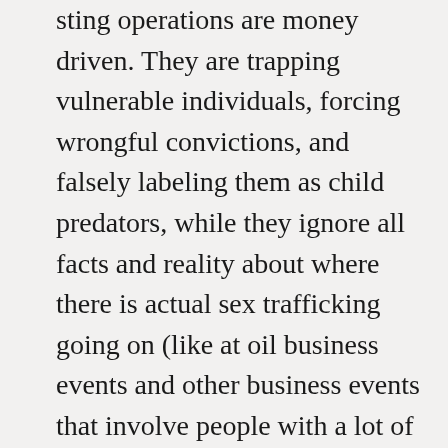sting operations are money driven. They are trapping vulnerable individuals, forcing wrongful convictions, and falsely labeling them as child predators, while they ignore all facts and reality about where there is actual sex trafficking going on (like at oil business events and other business events that involve people with a lot of money). Not sure why they think any of that is still a secret. Many people are very well aware of that going on, and have been for years.